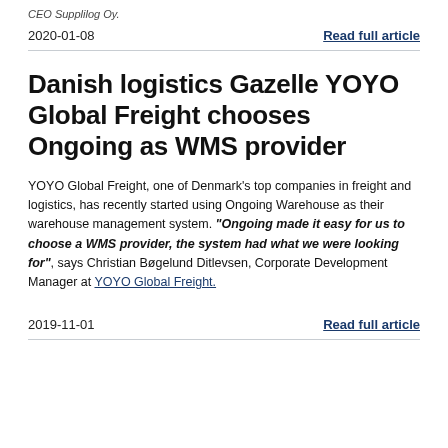CEO Supplilog Oy.
2020-01-08
Read full article
Danish logistics Gazelle YOYO Global Freight chooses Ongoing as WMS provider
YOYO Global Freight, one of Denmark's top companies in freight and logistics, has recently started using Ongoing Warehouse as their warehouse management system. "Ongoing made it easy for us to choose a WMS provider, the system had what we were looking for", says Christian Bøgelund Ditlevsen, Corporate Development Manager at YOYO Global Freight.
2019-11-01
Read full article